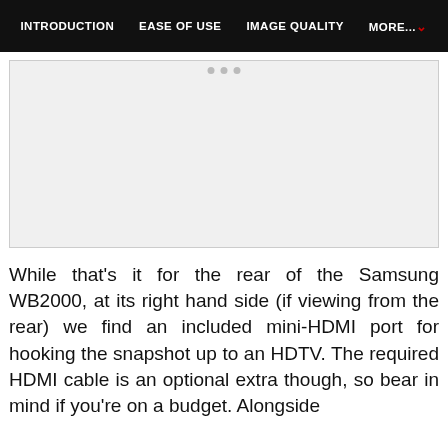INTRODUCTION   EASE OF USE   IMAGE QUALITY   MORE...
[Figure (photo): Gray placeholder image area with three small dots at the top center, representing a camera or product image.]
While that's it for the rear of the Samsung WB2000, at its right hand side (if viewing from the rear) we find an included mini-HDMI port for hooking the snapshot up to an HDTV. The required HDMI cable is an optional extra though, so bear in mind if you're on a budget. Alongside